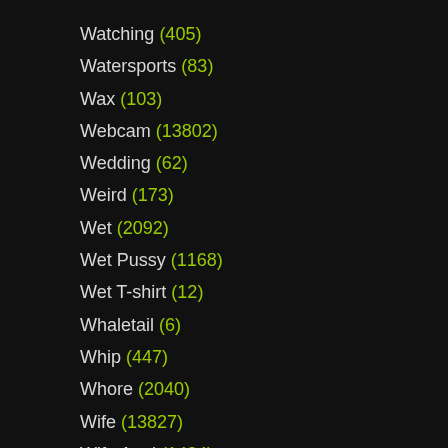Watching (405)
Watersports (83)
Wax (103)
Webcam (13802)
Wedding (62)
Weird (173)
Wet (2092)
Wet Pussy (1168)
Wet T-shirt (12)
Whaletail (6)
Whip (447)
Whore (2040)
Wife (13827)
Wife Anal (1424)
Wife Blowjob (2349)